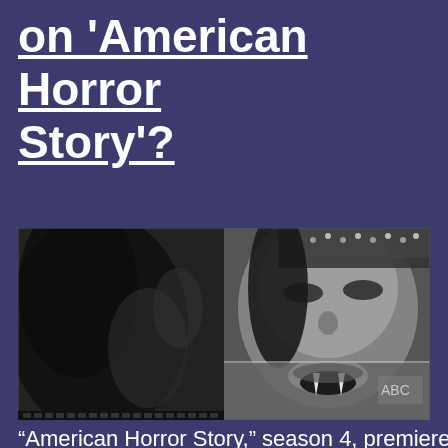on 'American Horror Story'?
[Figure (photo): Black and white split image showing a woman with dark hair wearing a jeweled headpiece, displaying vampire fangs, appearing to be a still from a TV show or music video]
“American Horror Story,” season 4, premieres